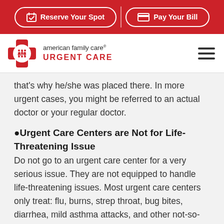Reserve Your Spot | Pay Your Bill
[Figure (logo): AFC American Family Care Urgent Care logo with red cross icon and hamburger menu]
that's why he/she was placed there. In more urgent cases, you might be referred to an actual doctor or your regular doctor.
●Urgent Care Centers are Not for Life-Threatening Issue
Do not go to an urgent care center for a very serious issue. They are not equipped to handle life-threatening issues. Most urgent care centers only treat: flu, burns, strep throat, bug bites, diarrhea, mild asthma attacks, and other not-so-serious ailments.